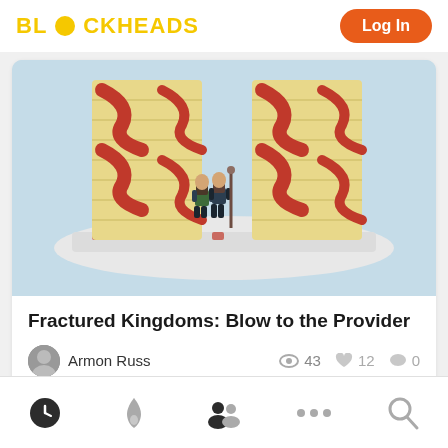BLOCKHEADS  Log In
[Figure (photo): LEGO diorama showing two tall columns with red curved brick patterns on a white tiled base plate, with two LEGO minifigures standing between the columns against a light blue background.]
Fractured Kingdoms: Blow to the Provider
Armon Russ   43   12   0
Clock icon  Fire icon  People icon  More icon  Search icon